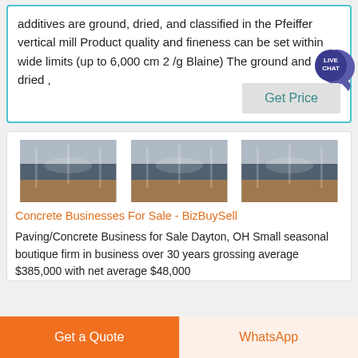additives are ground, dried, and classified in the Pfeiffer vertical mill Product quality and fineness can be set within wide limits (up to 6,000 cm 2 /g Blaine) The ground and dried ,
[Figure (screenshot): Get Price button with Live Chat bubble overlay]
[Figure (photo): Three identical industrial/warehouse photos showing machinery with white tubes/pipes overhead]
Concrete Businesses For Sale - BizBuySell
Paving/Concrete Business for Sale Dayton, OH Small seasonal boutique firm in business over 30 years grossing average $385,000 with net average $48,000
Get a Quote
WhatsApp